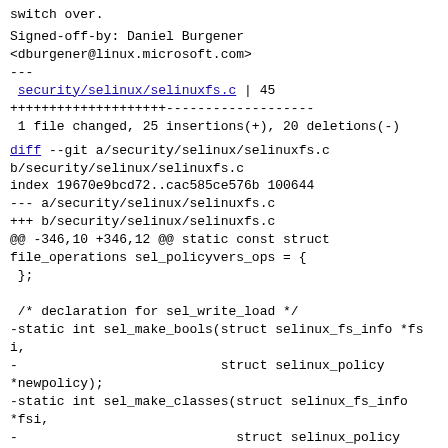switch over.
Signed-off-by: Daniel Burgener
<dburgener@linux.microsoft.com>
---
 security/selinux/selinuxfs.c | 45
++++++++++++++++++++-------------------
 1 file changed, 25 insertions(+), 20 deletions(-)
diff --git a/security/selinux/selinuxfs.c
b/security/selinux/selinuxfs.c
index 19670e9bcd72..cac585ce576b 100644
--- a/security/selinux/selinuxfs.c
+++ b/security/selinux/selinuxfs.c
@@ -346,10 +346,12 @@ static const struct
file_operations sel_policyvers_ops = {
 };

 /* declaration for sel_write_load */
-static int sel_make_bools(struct selinux_fs_info *fsi,
-                          struct selinux_policy
*newpolicy);
-static int sel_make_classes(struct selinux_fs_info
*fsi,
-                            struct selinux_policy
*newpolicy);
+static int sel_make_bools(struct selinux_policy
*newpolicy, struct dentry *bool_dir,
+                          unsigned int *bool_num, char
***bool_pending_names,
+                          unsigned int